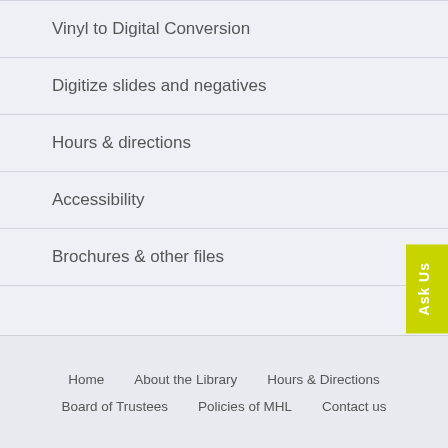Vinyl to Digital Conversion
Digitize slides and negatives
Hours & directions
Accessibility
Brochures & other files
Home   About the Library   Hours & Directions   Board of Trustees   Policies of MHL   Contact us